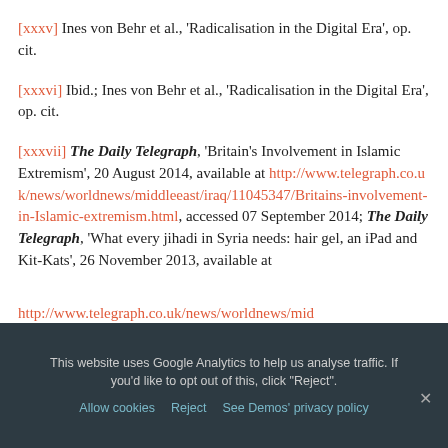[xxxv] Ines von Behr et al., ‘Radicalisation in the Digital Era’, op. cit.
[xxxvi] Ibid.; Ines von Behr et al., ‘Radicalisation in the Digital Era’, op. cit.
[xxxvii] The Daily Telegraph, ‘Britain’s Involvement in Islamic Extremism’, 20 August 2014, available at http://www.telegraph.co.uk/news/worldnews/middleeast/iraq/11045347/Britains-involvement-in-Islamic-extremism.html, accessed 07 September 2014; The Daily Telegraph, ‘What every jihadi in Syria needs: hair gel, an iPad and Kit-Kats’, 26 November 2013, available at
This website uses Google Analytics to help us analyse traffic. If you’d like to opt out of this, click “Reject”. Allow cookies  Reject  See Demos’ privacy policy